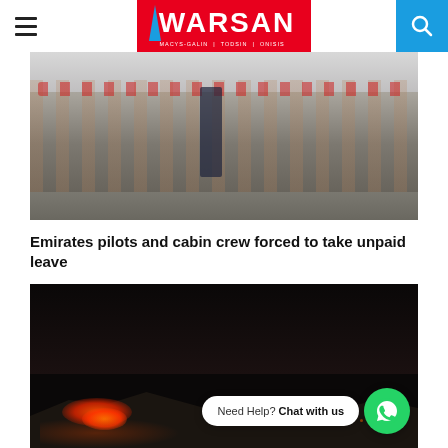WARSAN — MACYS-GALIN | TODSIN | ONISIS
[Figure (photo): Group photo of Emirates airline pilots and cabin crew in uniform standing on airport tarmac in front of an aircraft]
Emirates pilots and cabin crew forced to take unpaid leave
[Figure (photo): Dark nighttime photo showing fire/glow on a hillside or mountain landscape with a WhatsApp chat widget overlay reading 'Need Help? Chat with us']